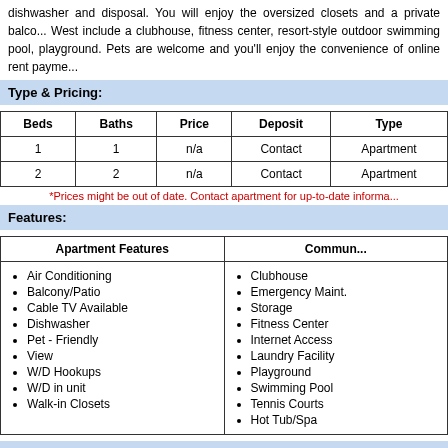dishwasher and disposal. You will enjoy the oversized closets and a private balco... West include a clubhouse, fitness center, resort-style outdoor swimming pool, playground. Pets are welcome and you'll enjoy the convenience of online rent payme...
Type & Pricing:
| Beds | Baths | Price | Deposit | Type |
| --- | --- | --- | --- | --- |
| 1 | 1 | n/a | Contact | Apartment |
| 2 | 2 | n/a | Contact | Apartment |
*Prices might be out of date. Contact apartment for up-to-date informa...
Features:
| Apartment Features | Commun... |
| --- | --- |
| Air Conditioning, Balcony/Patio, Cable TV Available, Dishwasher, Pet - Friendly, View, W/D Hookups, W/D in unit, Walk-in Closets | Clubhouse, Emergency Maint., Storage, Fitness Center, Internet Access, Laundry Facility, Playground, Swimming Pool, Tennis Courts, Hot Tub/Spa |
Custom Features:
Clubhouse
BBQ/Picnic Area
Business Center